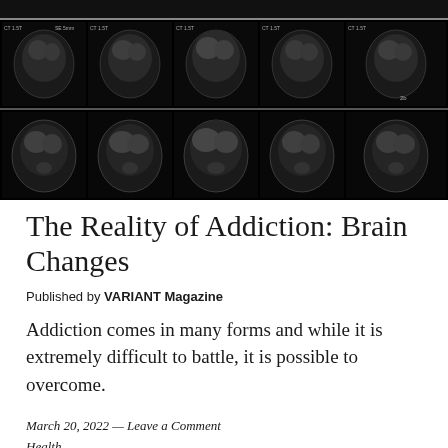[Figure (photo): Grid of brain CT scan images in black and white showing multiple axial cross-sections of the brain across two rows]
The Reality of Addiction: Brain Changes
Published by VARIANT Magazine
Addiction comes in many forms and while it is extremely difficult to battle, it is possible to overcome.
March 20, 2022 — Leave a Comment
Health